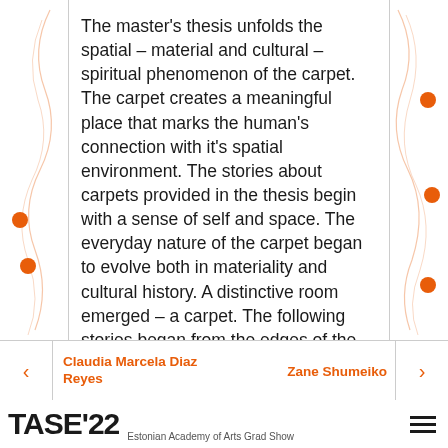The master's thesis unfolds the spatial – material and cultural – spiritual phenomenon of the carpet. The carpet creates a meaningful place that marks the human's connection with it's spatial environment. The stories about carpets provided in the thesis begin with a sense of self and space. The everyday nature of the carpet began to evolve both in materiality and cultural history. A distinctive room emerged – a carpet. The following stories began from the edges of the carpets weaved for the purpous of this thesis. These stories appeared over time when I stopped and thought about the carpets' visuals and the symbolism of their archetypes.
Claudia Marcela Diaz Reyes | Zane Shumeiko | TASE'22 Estonian Academy of Arts Grad Show